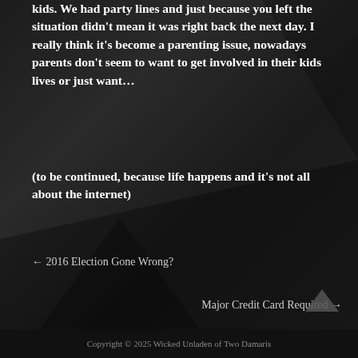kids. We had party lines and just because you left the situation didn't mean it was right back the next day. I really think it's become a parenting issue, nowadays parents don't seem to want to get involved in their kids lives or just want...
(to be continued, because life happens and it's not all about the internet)
← 2016 Election Gone Wrong?
Major Credit Card Required →
Search
Copyright © 2025 Wicked Unladen of Two Damaris